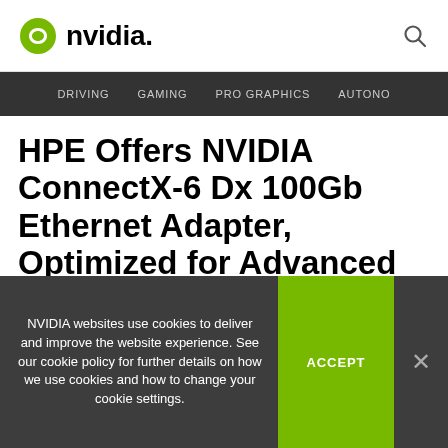NVIDIA
DRIVING   GAMING   PRO GRAPHICS   AUTONO
HPE Offers NVIDIA ConnectX-6 Dx 100Gb Ethernet Adapter, Optimized for Advanced Security, Virtualization and Storage Requirements
NVIDIA websites use cookies to deliver and improve the website experience. See our cookie policy for further details on how we use cookies and how to change your cookie settings.
ACCEPT
×